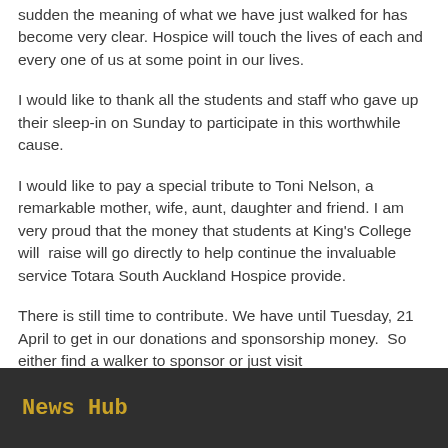sudden the meaning of what we have just walked for has become very clear. Hospice will touch the lives of each and every one of us at some point in our lives.
I would like to thank all the students and staff who gave up their sleep-in on Sunday to participate in this worthwhile cause.
I would like to pay a special tribute to Toni Nelson, a remarkable mother, wife, aunt, daughter and friend. I am very proud that the money that students at King's College will  raise will go directly to help continue the invaluable service Totara South Auckland Hospice provide.
There is still time to contribute. We have until Tuesday, 21 April to get in our donations and sponsorship money.  So either find a walker to sponsor or just visit www.givealittle.co.nz
News Hub